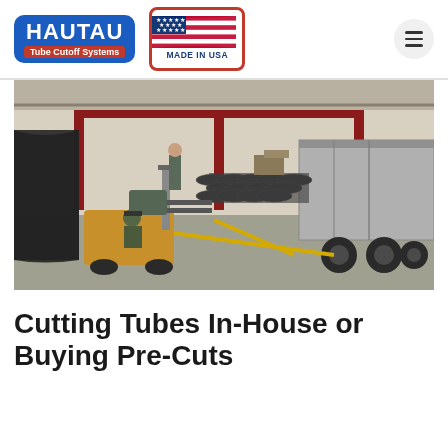[Figure (logo): HAUTAU Tube Cutoff Systems logo — blue rounded rectangle with white bold text HAUTAU and red banner tagline 'Tube Cutoff Systems']
[Figure (logo): Made in USA badge — red-bordered rectangle with American flag graphic and text MADE IN USA]
[Figure (photo): Warehouse scene with a forklift operator loading or unloading bundles of metal tubes/pipes onto a semi-truck trailer inside an industrial facility]
Cutting Tubes In-House or Buying Pre-Cuts